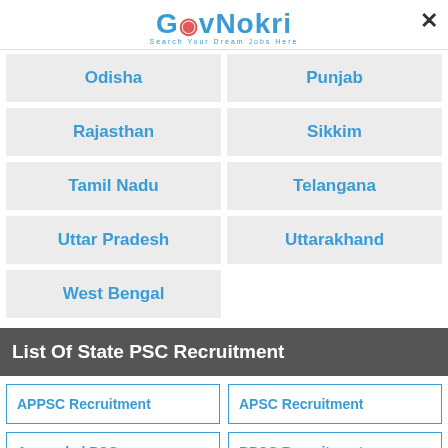[Figure (logo): GovNokri logo with tagline 'Search Your Dream Jobs Here']
| Odisha | Punjab |
| Rajasthan | Sikkim |
| Tamil Nadu | Telangana |
| Uttar Pradesh | Uttarakhand |
| West Bengal |  |
List Of State PSC Recruitment
| APPSC Recruitment | APSC Recruitment |
| Arunachal PSC | BPSC Recruitment |
|  |  |